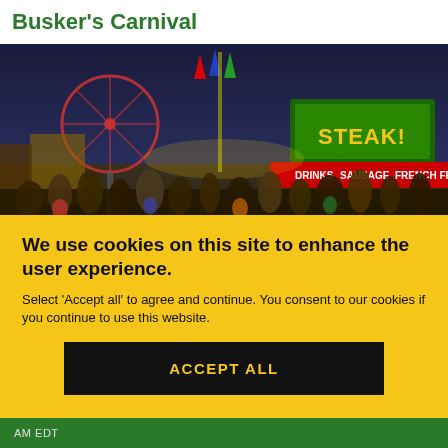Busker's Carnival
[Figure (photo): Nighttime carnival scene with large crowd, Ferris wheel, colorful lights, food stalls showing STEAK, DRINKS, SAUSAGE, FRENCH FRE signs]
We use cookies on this site to enhance the user experience.
Select 'Accept all' to agree and continue. You consent to our cookies if you continue to use this website.
ACCEPT ALL
AM EDT